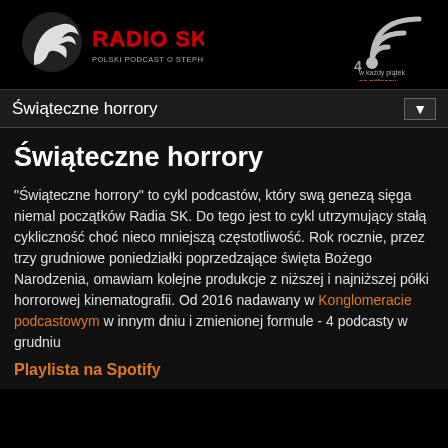Radio SK - Polski Podcast o Stephenie Kingu
Świąteczne horrory
Świąteczne horrory
"Świąteczne horrory" to cykl podcastów, który swą genezą sięga niemal początków Radia SK. Do tego jest to cykl utrzymujący stałą cykliczność choć nieco mniejszą częstotliwość. Rok rocznie, przez trzy grudniowe poniedziałki poprzedzające święta Bożego Narodzenia, omawiam kolejne produkcje z niższej i najniższej półki horrorowej kinematografii. Od 2016 nadawany w Konglomeracie podcastowym w innym dniu i zmienionej formule - 4 podcasty w grudniu
Playlista na Spotify